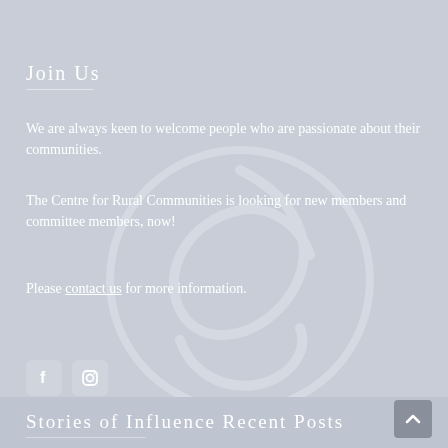Join Us
We are always keen to welcome people who are passionate about their communities.
The Centre for Rural Communities is looking for new members and committee members, now!
Please contact us for more information.
[Figure (logo): Two social media icon buttons: Facebook (f) and Instagram (camera) icons, rounded square style]
Stories of Influence Recent Posts